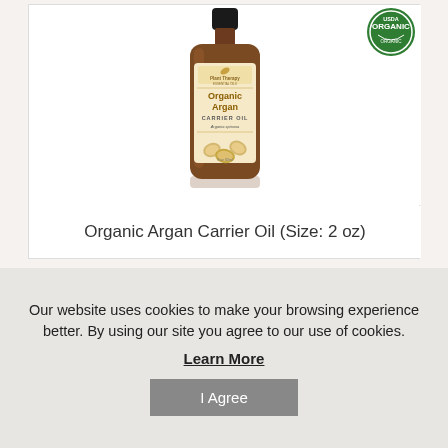[Figure (photo): Brown glass bottle of Plant Therapy Organic Argan Carrier Oil (Argania spinosa), 2 oz, with cream-colored label featuring botanical illustration of argan nuts. USDA Organic badge visible in top right corner.]
Organic Argan Carrier Oil (Size: 2 oz)
Our website uses cookies to make your browsing experience better. By using our site you agree to our use of cookies.
Learn More
I Agree